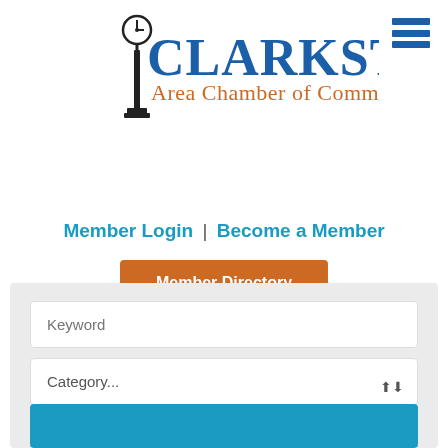[Figure (logo): Clarkston Area Chamber of Commerce logo with clock post icon, blue and orange text]
[Figure (other): Hamburger menu icon (three horizontal blue lines) in top right corner]
Member Directory
Member Login | Become a Member
Keyword
Category...
August